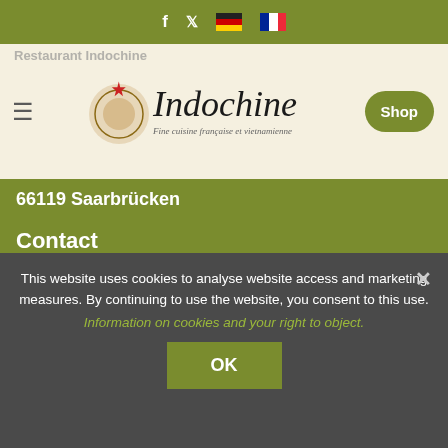f  [twitter icon]  [German flag]  [French flag]
[Figure (screenshot): Indochine restaurant logo with decorative emblem and subtitle 'Fine cuisine française et vietnamienne', with hamburger menu and Shop button]
66119 Saarbrücken
Contact
Tel.: +49 (0)681 967 787 08
Mail: info@indochine-sb.com
Opening hours
Wednesday - Monday
12.00-14.30 hrs and 18.00-23.00 hrs
This website uses cookies to analyse website access and marketing measures. By continuing to use the website, you consent to this use.
Information on cookies and your right to object.
OK